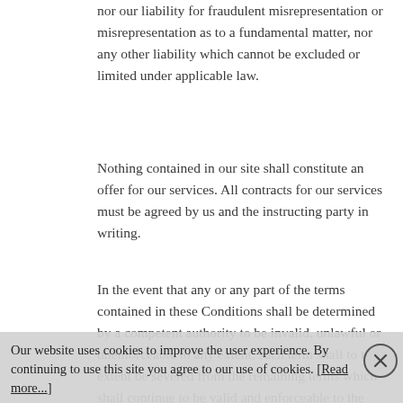nor our liability for fraudulent misrepresentation or misrepresentation as to a fundamental matter, nor any other liability which cannot be excluded or limited under applicable law.
Nothing contained in our site shall constitute an offer for our services. All contracts for our services must be agreed by us and the instructing party in writing.
In the event that any or any part of the terms contained in these Conditions shall be determined by a competent authority to be invalid, unlawful or unenforceable to any extent, such term shall to that extent be severed from the remaining terms which shall continue to be valid and enforceable to the fullest extent permitted by law.
Please contact us if you have any questions about any
Our website uses cookies to improve the user experience. By continuing to use this site you agree to our use of cookies. [Read more...]